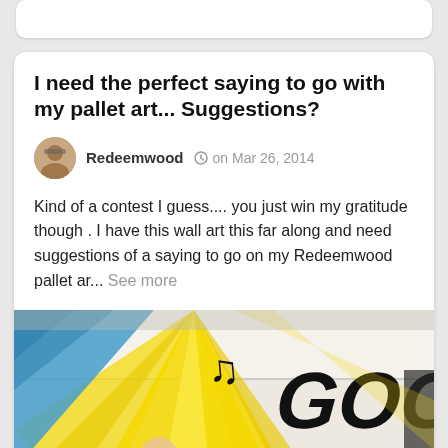I need the perfect saying to go with my pallet art... Suggestions?
Redeemwood   on Mar 26, 2014
Kind of a contest I guess.... you just win my gratitude though . I have this wall art this far along and need suggestions of a saying to go on my Redeemwood pallet ar... See more
[Figure (photo): A pallet art piece in progress showing bold black text 'GOOD DAY' with painted blue and yellow sunburst design on white wooden boards. A musical note is visible. An advertisement banner at the bottom reads 'FIND A GIRLFRIEND' on a purple background.]